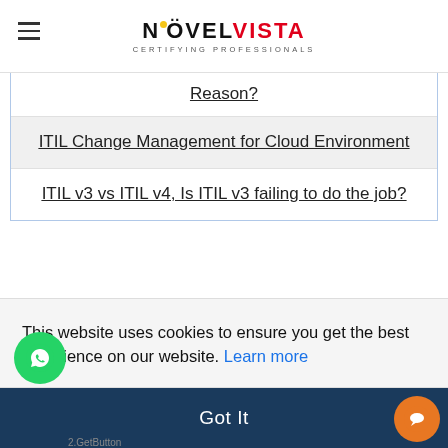NOVELVISTA CERTIFYING PROFESSIONALS
Reason?
ITIL Change Management for Cloud Environment
ITIL v3 vs ITIL v4, Is ITIL v3 failing to do the job?
This website uses cookies to ensure you get the best experience on our website. Learn more
Got It
SIAM Professional Training & Certification